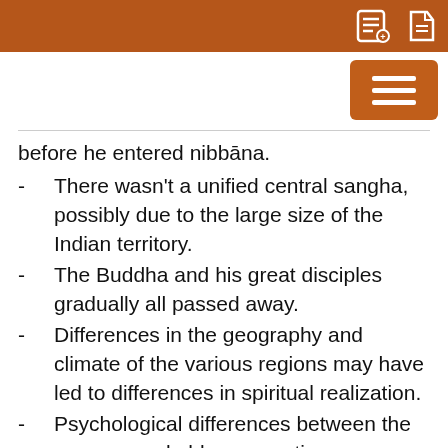before he entered nibbāna.
There wasn't a unified central sangha, possibly due to the large size of the Indian territory.
The Buddha and his great disciples gradually all passed away.
Differences in the geography and climate of the various regions may have led to differences in spiritual realization.
Psychological differences between the younger and older generations.
Historical circumstances, such as the persecution by rulers.
This period could be considered as the most complex of Buddhist history. Many schools appeared and vied with each other in their interpretation of suttas, Discipline, and